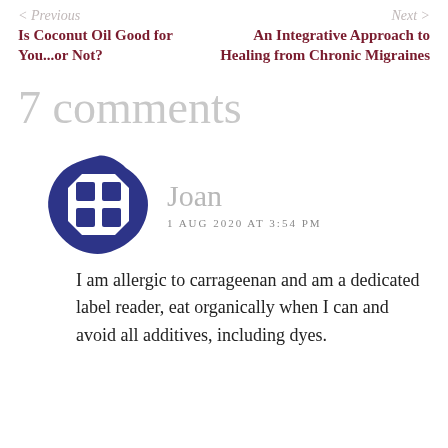< Previous    Next >
Is Coconut Oil Good for You...or Not?
An Integrative Approach to Healing from Chronic Migraines
7 comments
[Figure (illustration): Dark blue geometric avatar icon for commenter Joan]
Joan
1 AUG 2020 AT 3:54 PM
I am allergic to carrageenan and am a dedicated label reader, eat organically when I can and avoid all additives, including dyes.